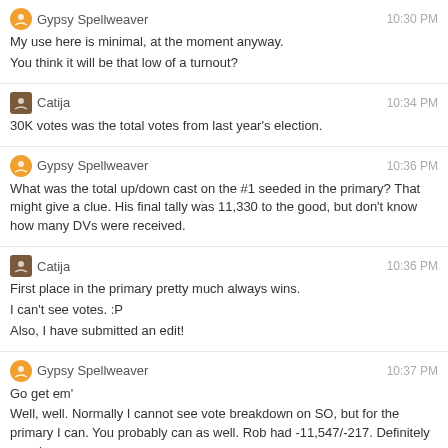Gypsy Spellweaver 10:30 PM
My use here is minimal, at the moment anyway.
You think it will be that low of a turnout?
Catija 10:34 PM
30K votes was the total votes from last year's election.
Gypsy Spellweaver 10:36 PM
What was the total up/down cast on the #1 seeded in the primary? That might give a clue. His final tally was 11,330 to the good, but don't know how many DVs were received.
Catija 10:36 PM
First place in the primary pretty much always wins.
I can't see votes. :P
Also, I have submitted an edit!
Gypsy Spellweaver 10:37 PM
Go get em'
Well, well. Normally I cannot see vote breakdown on SO, but for the primary I can. You probably can as well. Rob had -11,547/-217. Definitely popular.
Catija 10:43 PM
Nope. Clicking on the numbers does nothing.
Here's the previous year's primary: stackoverflow.com/election/9?tab=primary
Gypsy Spellweaver 10:43 PM